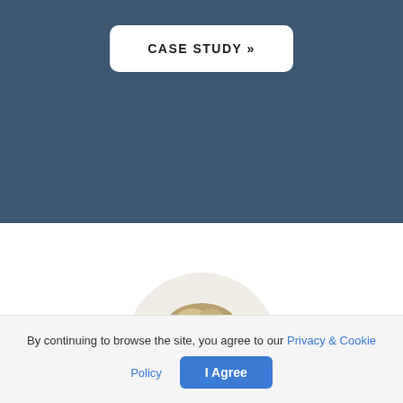CASE STUDY »
[Figure (photo): Circular cropped headshot of a middle-aged man with short blonde/grey hair wearing a dark top, on a beige/cream background]
By continuing to browse the site, you agree to our Privacy & Cookie Policy  |  I Agree